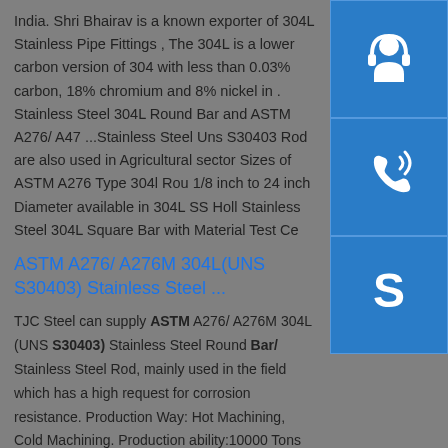India. Shri Bhairav is a known exporter of 304L Stainless Pipe Fittings , The 304L is a lower carbon version of 304 with less than 0.03% carbon, 18% chromium and 8% nickel in . Stainless Steel 304L Round Bar and ASTM A276/ A47 ...Stainless Steel Uns S30403 Rod are also used in Agricultural sector Sizes of ASTM A276 Type 304l Rou 1/8 inch to 24 inch Diameter available in 304L SS Holl Stainless Steel 304L Square Bar with Material Test Ce
[Figure (illustration): Three blue square icons stacked vertically on the right sidebar: top icon shows a headset/customer support person, middle icon shows a phone with signal waves, bottom icon shows the Skype logo (S).]
ASTM A276/ A276M 304L(UNS S30403) Stainless Steel ...
TJC Steel can supply ASTM A276/ A276M 304L (UNS S30403) Stainless Steel Round Bar/ Stainless Steel Rod, mainly used in the field which has a high request for corrosion resistance. Production Way: Hot Machining, Cold Machining. Production ability:10000 Tons Per Month.sp.info Stainless